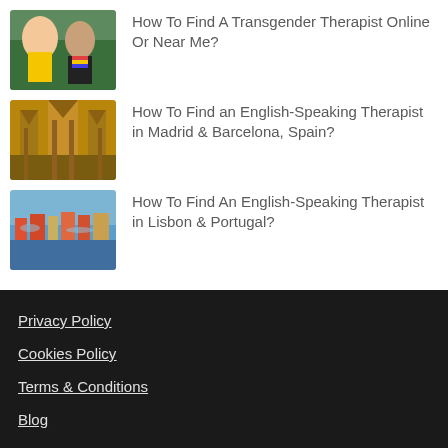[Figure (photo): Two people at what appears to be a Pride event, one in a yellow shirt with rainbow accessories]
How To Find A Transgender Therapist Online Or Near Me?
[Figure (photo): Gothic cathedral architecture, likely Sagrada Familia in Barcelona]
How To Find an English-Speaking Therapist in Madrid & Barcelona, Spain?
[Figure (photo): Colorful waterfront buildings along a river in Lisbon/Porto, Portugal]
How To Find An English-Speaking Therapist in Lisbon & Portugal?
Privacy Policy
Cookies Policy
Terms & Conditions
Blog